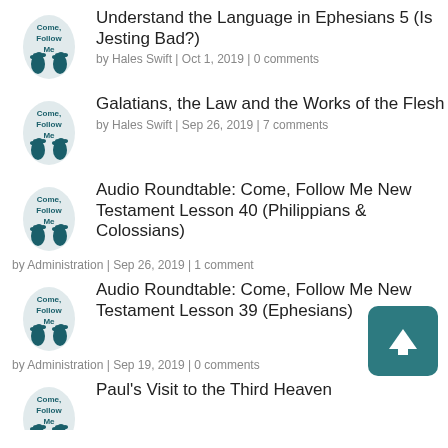Understand the Language in Ephesians 5 (Is Jesting Bad?) by Hales Swift | Oct 1, 2019 | 0 comments
Galatians, the Law and the Works of the Flesh by Hales Swift | Sep 26, 2019 | 7 comments
Audio Roundtable: Come, Follow Me New Testament Lesson 40 (Philippians & Colossians) by Administration | Sep 26, 2019 | 1 comment
Audio Roundtable: Come, Follow Me New Testament Lesson 39 (Ephesians) by Administration | Sep 19, 2019 | 0 comments
Paul's Visit to the Third Heaven